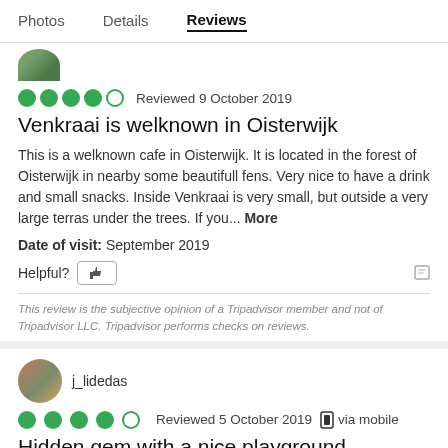Photos   Details   Reviews
[Figure (photo): Circular avatar profile photo, partially visible at top]
●●●●○ Reviewed 9 October 2019
Venkraai is welknown in Oisterwijk
This is a welknown cafe in Oisterwijk. It is located in the forest of Oisterwijk in nearby some beautifull fens. Very nice to have a drink and small snacks. Inside Venkraai is very small, but outside a very large terras under the trees. If you... More
Date of visit: September 2019
Helpful?
This review is the subjective opinion of a Tripadvisor member and not of Tripadvisor LLC. Tripadvisor performs checks on reviews.
[Figure (photo): Circular avatar profile photo for user j_lidedas]
j_lidedas
●●●●○ Reviewed 5 October 2019  via mobile
Hidden gem with a nice playground